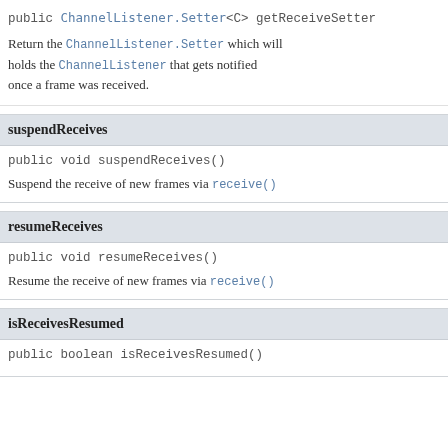public ChannelListener.Setter<C> getReceiveSetter
Return the ChannelListener.Setter which will holds the ChannelListener that gets notified once a frame was received.
suspendReceives
public void suspendReceives()
Suspend the receive of new frames via receive()
resumeReceives
public void resumeReceives()
Resume the receive of new frames via receive()
isReceivesResumed
public boolean isReceivesResumed()